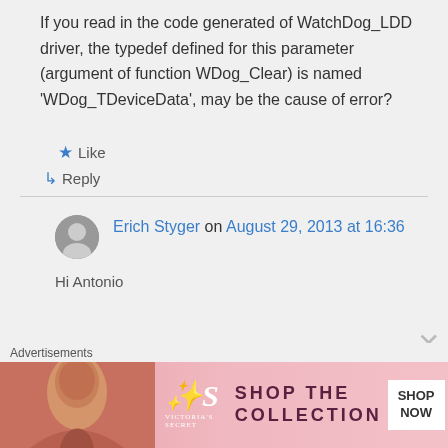If you read in the code generated of WatchDog_LDD driver, the typedef defined for this parameter (argument of function WDog_Clear) is named 'WDog_TDeviceData', may be the cause of error?
★ Like
↳ Reply
Erich Styger on August 29, 2013 at 16:36
Hi Antonio
Advertisements
[Figure (illustration): Victoria's Secret advertisement banner with model, VS logo, 'SHOP THE COLLECTION' text and 'SHOP NOW' button]